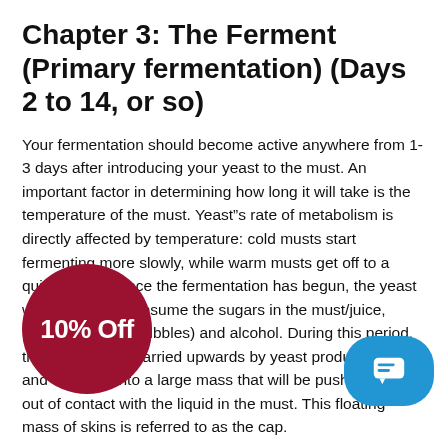Chapter 3: The Ferment (Primary fermentation) (Days 2 to 14, or so)
Your fermentation should become active anywhere from 1-3 days after introducing your yeast to the must. An important factor in determining how long it will take is the temperature of the must. Yeast”s rate of metabolism is directly affected by temperature: cold musts start fermenting more slowly, while warm musts get off to a quicker start. Once the fermentation has begun, the yeast will proceed to consume the sugars in the must/juice, producing CO2 (bubbles) and alcohol. During this period, the skins will be carried upwards by yeast produced CO2 and compact into a large mass that will be pushed up and out of contact with the liquid in the must. This floating mass of skins is referred to as the cap.
3.1 Punching the Cap
This needs to be broken-up and re-submerged several times a day. This process is referred to as “punching down the cap”. The cap protects the wine, aiding with extraction of compounds from the skins, along with the dispersion of built-up heat. If the cap is exposed to the air for too long, the surface can dry out and allow the colonization of airborne bacteria…